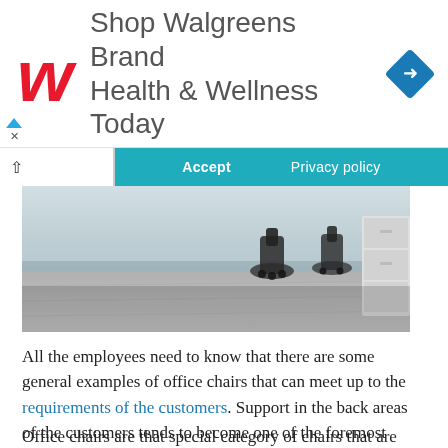[Figure (advertisement): Walgreens brand ad banner with red W logo, text 'Shop Walgreens Brand Health & Wellness Today', and a blue diamond navigation icon]
[Figure (screenshot): Cookie consent bar with Accept and Privacy policy buttons overlaid on a partial office photo showing office chairs and filing cabinets on a wooden floor]
All the employees need to know that there are some general examples of office chairs that can meet up to the requirements of the customers. Support in the back areas of the customers tends to become one of the foremost criteria for all the customers. And this requirement seems to be needed because of the multi-age group assimilations inside the office premises. In each of the sector best office chairs as a topic, should remain an important one.
Office chairs are that special category of chairs that are